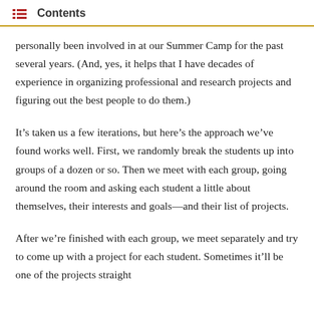Contents
personally been involved in at our Summer Camp for the past several years. (And, yes, it helps that I have decades of experience in organizing professional and research projects and figuring out the best people to do them.)
It’s taken us a few iterations, but here’s the approach we’ve found works well. First, we randomly break the students up into groups of a dozen or so. Then we meet with each group, going around the room and asking each student a little about themselves, their interests and goals—and their list of projects.
After we’re finished with each group, we meet separately and try to come up with a project for each student. Sometimes it’ll be one of the projects straight